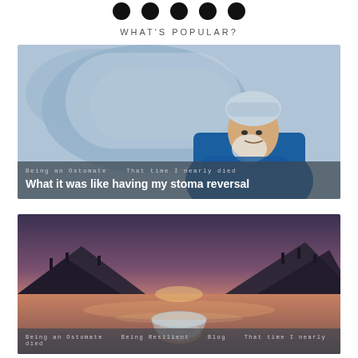• • • • •
WHAT'S POPULAR?
[Figure (photo): A surgeon in blue scrubs and a surgical cap standing in an operating room with medical equipment in the background. Text overlay reads: 'Being an Ostomate · That time I nearly died' and 'What it was like having my stoma reversal']
[Figure (photo): A person holding a clear glass bowl near a lake at sunset with mountains in the background. Text overlay reads: 'Being an Ostomate · Being Resilient · Blog · That time I nearly died']